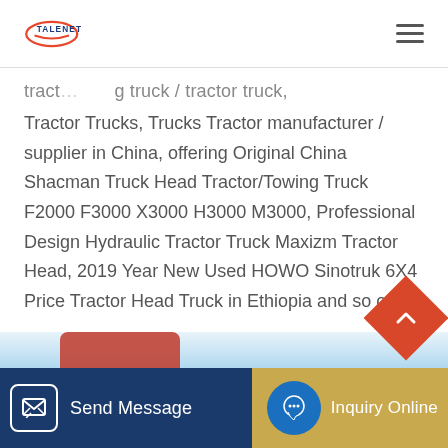TALENET
tract... g truck / tractor truck, Tractor Trucks, Trucks Tractor manufacturer / supplier in China, offering Original China Shacman Truck Head Tractor/Towing Truck F2000 F3000 X3000 H3000 M3000, Professional Design Hydraulic Tractor Truck Maxizm Tractor Head, 2019 Year New Used HOWO Sinotruk 6X4 Price Tractor Head Truck in Ethiopia and so on.
[Figure (other): Learn More button - orange/red rectangle button]
[Figure (other): Bottom navigation bar with Send Message and Inquiry Online buttons, and back-to-top diamond button]